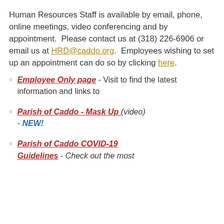Human Resources Staff is available by email, phone, online meetings, video conferencing and by appointment.  Please contact us at (318) 226-6906 or email us at HRD@caddo.org.  Employees wishing to set up an appointment can do so by clicking here.
Employee Only page - Visit to find the latest information and links to
Parish of Caddo - Mask Up (video) - NEW!
Parish of Caddo COVID-19 Guidelines - Check out the most